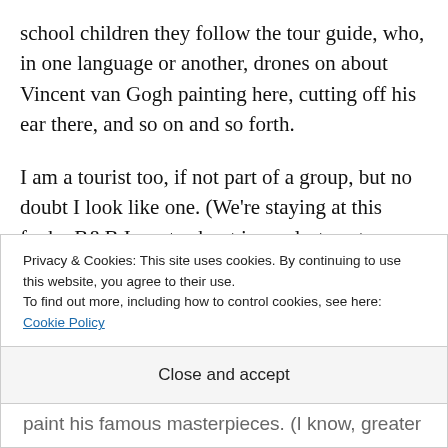school children they follow the tour guide, who, in one language or another, drones on about Vincent van Gogh painting here, cutting off his ear there, and so on and so forth.

I am a tourist too, if not part of a group, but no doubt I look like one. (We're staying at this funky B&B I wrote about in my last post Bedroom Adventure.) My man and I cruise the streets too, cutting but in the lab in this gallery of this was just paint his famous masterpieces. (I know, greater
Privacy & Cookies: This site uses cookies. By continuing to use this website, you agree to their use.
To find out more, including how to control cookies, see here: Cookie Policy
Close and accept